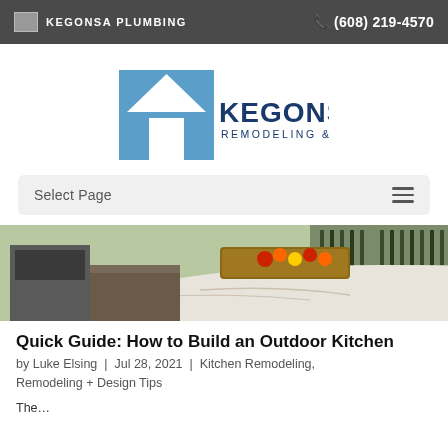KEGONSA PLUMBING  (608) 219-4570
[Figure (logo): Kegonsa Remodeling & Design logo — blue house icon with white roof cutout above company name in blue]
Select Page
[Figure (photo): Outdoor kitchen countertop with marble surface, wooden cutting board with colorful fruit/vegetables, stone surround in background]
Quick Guide: How to Build an Outdoor Kitchen
by Luke Elsing | Jul 28, 2021 | Kitchen Remodeling, Remodeling + Design Tips
The…